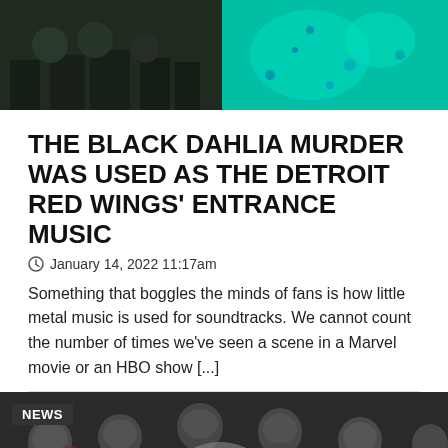[Figure (photo): Split image: left side shows dark figures/people in a dimly lit green-tinted scene; right side shows a bright teal/turquoise glowing liquid or surface with blue dots]
THE BLACK DAHLIA MURDER WAS USED AS THE DETROIT RED WINGS' ENTRANCE MUSIC
January 14, 2022 11:17am
Something that boggles the minds of fans is how little metal music is used for soundtracks. We cannot count the number of times we've seen a scene in a Marvel movie or an HBO show [...]
[Figure (photo): NEWS tagged image showing a person surrounded by skulls and red hearts in a dark stylized photo]
[Figure (other): Advertisement banner: KEEP YOUR OWN PHONE AND SAVE on green background with phone illustration]